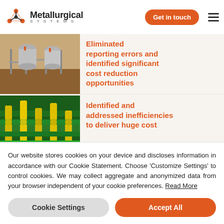Metallurgical Systems — Get in touch
Eliminated reporting errors and identified significant cost reduction opportunities
[Figure (photo): Industrial site with large metal tanks/silos on scaffolding against a brown earthwork background]
Identified and addressed inefficiencies to deliver huge cost
[Figure (photo): Industrial piping network with yellow and green pipes and fittings]
Our website stores cookies on your device and discloses information in accordance with our Cookie Statement. Choose 'Customize Settings' to control cookies. We may collect aggregate and anonymized data from your browser independent of your cookie preferences. Read More